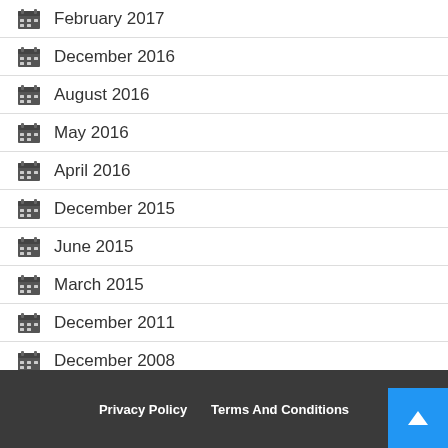February 2017
December 2016
August 2016
May 2016
April 2016
December 2015
June 2015
March 2015
December 2011
December 2008
Privacy Policy   Terms And Conditions